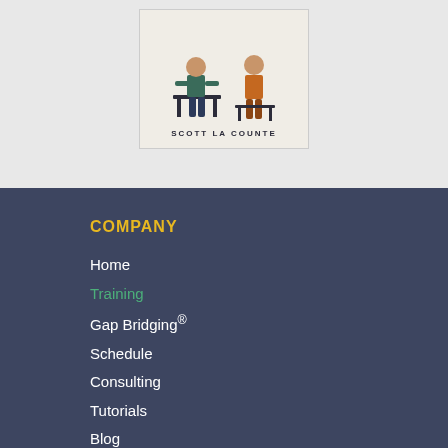[Figure (illustration): Book cover illustration showing two illustrated people figures near tables/desks, with author name 'SCOTT LA COUNTE' at the bottom]
COMPANY
Home
Training
Gap Bridging®
Schedule
Consulting
Tutorials
Blog
About
Contact